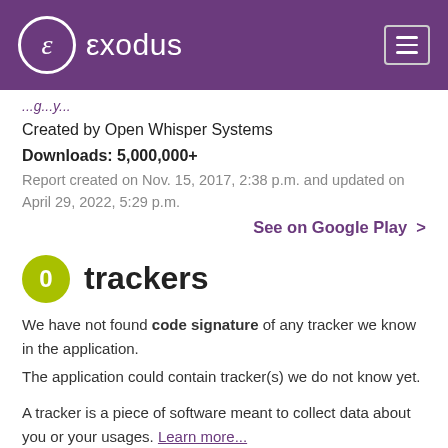exodus
Created by Open Whisper Systems
Downloads: 5,000,000+
Report created on Nov. 15, 2017, 2:38 p.m. and updated on April 29, 2022, 5:29 p.m.
See on Google Play >
0 trackers
We have not found code signature of any tracker we know in the application.
The application could contain tracker(s) we do not know yet.
A tracker is a piece of software meant to collect data about you or your usages. Learn more...